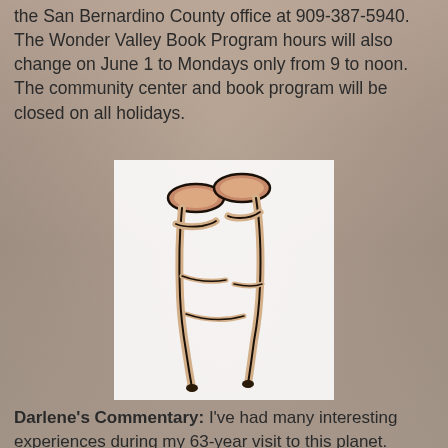the San Bernardino County office at 909-387-5940. The Wonder Valley Book Program hours will also change on June 1 to Mondays only from 9 to noon. The community center and book program will be closed on all holidays.
[Figure (illustration): Illustration of a pair of medical crutches, crossed, with padded tops, drawn in a cartoon style with brown/tan coloring and black outlines, on a white background.]
Darlene's Commentary: I've had many interesting experiences during my 63-year visit to this planet. Some were weird, some funny, some unbelievable, some scary, and some were even normal. Here's a recent example of a strange one. After I started having right hip pain, I was subjected to a series of x-rays, CT scans, MRIs, nerve conduction studies, a steroid injection into my spine and one